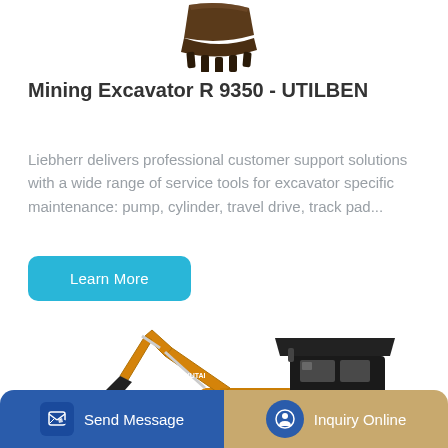[Figure (photo): Excavator bucket attachment viewed from above, dark metallic teeth/claws]
Mining Excavator R 9350 - UTILBEN
Liebherr delivers professional customer support solutions with a wide range of service tools for excavator specific maintenance: pump, cylinder, travel drive, track pad...
[Figure (photo): Yellow mini excavator with black canopy on white background]
Send Message | Inquiry Online